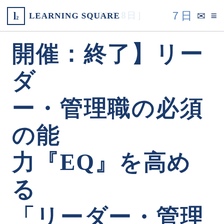Learning Square | ７日 東京
開催：終了】リーダー・管理職の必須の能力『EQ』を高める「リーダー・管理職向けEQ自己理解セミナー」
お知らせ